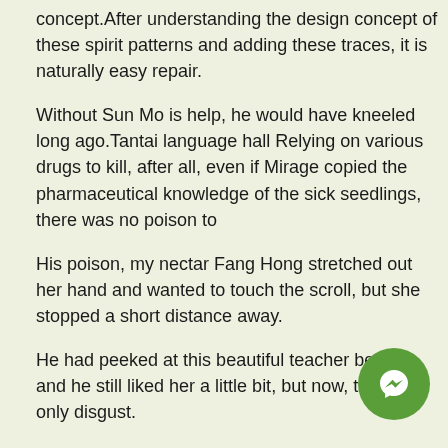concept.After understanding the design concept of these spirit patterns and adding these traces, it is naturally easy repair.
Without Sun Mo is help, he would have kneeled long ago.Tantai language hall Relying on various drugs to kill, after all, even if Mirage copied the pharmaceutical knowledge of the sick seedlings, there was no poison to
His poison, my nectar Fang Hong stretched out her hand and wanted to touch the scroll, but she stopped a short distance away.
He had peeked at this beautiful teacher before, and he still liked her a little bit, but now, there is only disgust.
Sure enough, the little brother who wanted to chop, immediately withered.To be honest, Sun Mo did not know whether to be happy or cry.After practicing this technique too much, he would become a monk with no desires or...